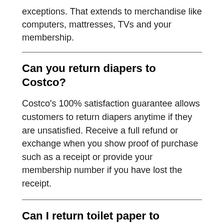exceptions. That extends to merchandise like computers, mattresses, TVs and your membership.
Can you return diapers to Costco?
Costco's 100% satisfaction guarantee allows customers to return diapers anytime if they are unsatisfied. Receive a full refund or exchange when you show proof of purchase such as a receipt or provide your membership number if you have lost the receipt.
Can I return toilet paper to Costco?